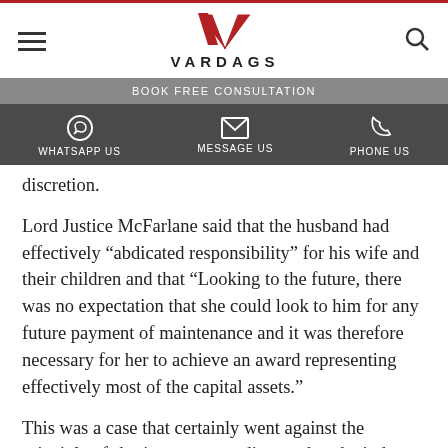VARDAGS — BOOK FREE CONSULTATION — WHATSAPP US — MESSAGE US — PHONE US
discretion.
Lord Justice McFarlane said that the husband had effectively “abdicated responsibility” for his wife and their children and that “Looking to the future, there was no expectation that she could look to him for any future payment of maintenance and it was therefore necessary for her to achieve an award representing effectively most of the capital assets.”
This was a case that certainly went against the principle of sharing assets on divorce, but the judges found the husband’s position to be so unreliable that...